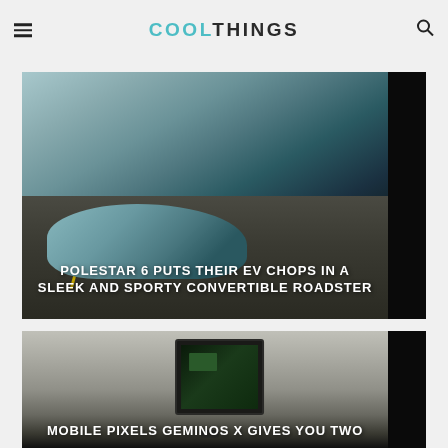COOLTHINGS
[Figure (photo): Aerial view of a Polestar 6 electric convertible roadster on a road, teal/blue color, viewed from above and behind]
POLESTAR 6 PUTS THEIR EV CHOPS IN A SLEEK AND SPORTY CONVERTIBLE ROADSTER
[Figure (photo): Mobile Pixels Geminos X portable monitor displayed on desk]
MOBILE PIXELS GEMINOS X GIVES YOU TWO